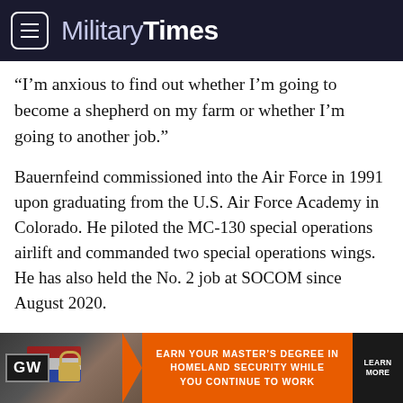MilitaryTimes
“I’m anxious to find out whether I’m going to become a shepherd on my farm or whether I’m going to another job.”
Bauernfeind commissioned into the Air Force in 1991 upon graduating from the U.S. Air Force Academy in Colorado. He piloted the MC-130 special operations airlift and commanded two special operations wings. He has also held the No. 2 job at SOCOM since August 2020.
And amid Europe’s most tenuous security situation in decades, Gen. Tod Wolters will retire as U.S. European Command boss and NATO’s supreme allied commander. Wolters commissioned
[Figure (other): Advertisement banner for GW (George Washington University): Earn Your Master’s Degree in Homeland Security While You Continue to Work. Learn More.]